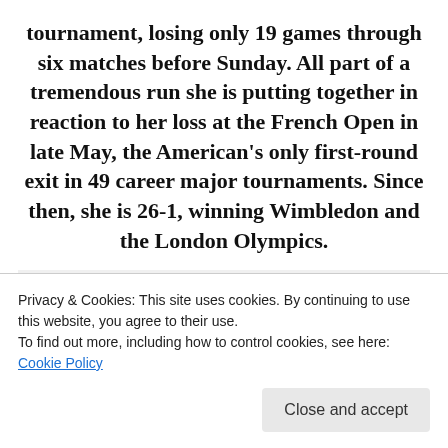tournament, losing only 19 games through six matches before Sunday. All part of a tremendous run she is putting together in reaction to her loss at the French Open in late May, the American's only first-round exit in 49 career major tournaments. Since then, she is 26-1, winning Wimbledon and the London Olympics.
[Figure (screenshot): An advertisement or app banner with strikethrough text 'the same page is easy.' and bold text 'And free.' followed by a row of circular avatar photos including three person photos and one blue circle with an icon.]
Privacy & Cookies: This site uses cookies. By continuing to use this website, you agree to their use.
To find out more, including how to control cookies, see here: Cookie Policy
Close and accept